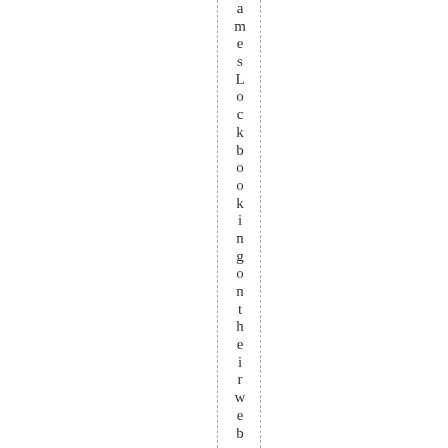amesLockbookingontheirwebsiteh